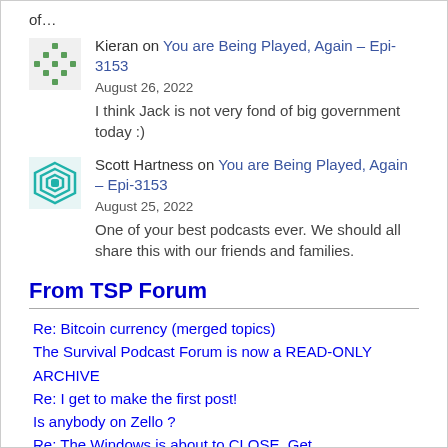of…
Kieran on You are Being Played, Again – Epi-3153
August 26, 2022
I think Jack is not very fond of big government today :)
Scott Hartness on You are Being Played, Again – Epi-3153
August 25, 2022
One of your best podcasts ever. We should all share this with our friends and families.
From TSP Forum
Re: Bitcoin currency (merged topics)
The Survival Podcast Forum is now a READ-ONLY ARCHIVE
Re: I get to make the first post!
Is anybody on Zello ?
Re: The Windows is about to CLOSE. Get…